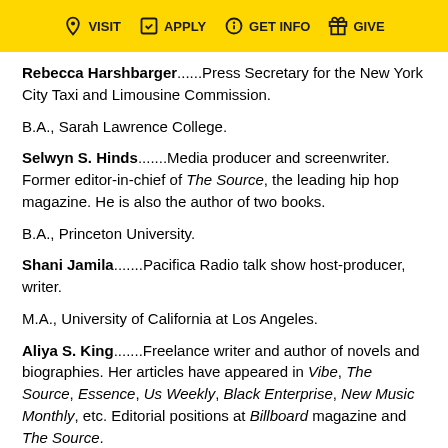VISIT  APPLY  GET INFO  GIVE
Rebecca Harshbarger......Press Secretary for the New York City Taxi and Limousine Commission.
B.A., Sarah Lawrence College.
Selwyn S. Hinds.......Media producer and screenwriter. Former editor-in-chief of The Source, the leading hip hop magazine. He is also the author of two books.
B.A., Princeton University.
Shani Jamila.......Pacifica Radio talk show host-producer, writer.
M.A., University of California at Los Angeles.
Aliya S. King.......Freelance writer and author of novels and biographies. Her articles have appeared in Vibe, The Source, Essence, Us Weekly, Black Enterprise, New Music Monthly, etc. Editorial positions at Billboard magazine and The Source.